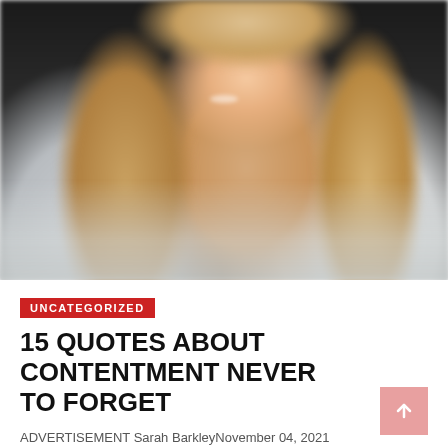[Figure (photo): Blurred portrait photo of a smiling blonde woman against a dark background, wearing a light-colored top]
UNCATEGORIZED
15 QUOTES ABOUT CONTENTMENT NEVER TO FORGET
ADVERTISEMENT Sarah BarkleyNovember 04, 2021